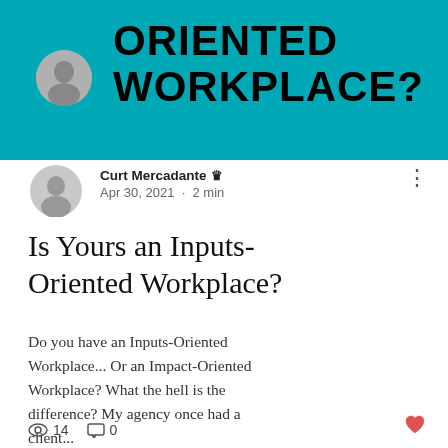[Figure (illustration): Teal/cyan banner image with bold black text reading 'ORIENTED WORKPLACE?' and a circular avatar photo of a man in a suit in the upper left portion of the banner.]
Curt Mercadante 👑 Admin
Apr 30, 2021 · 2 min
Is Yours an Inputs-Oriented Workplace?
Do you have an Inputs-Oriented Workplace... Or an Impact-Oriented Workplace? What the hell is the difference? My agency once had a client...
👁 14   💬 0   ♥